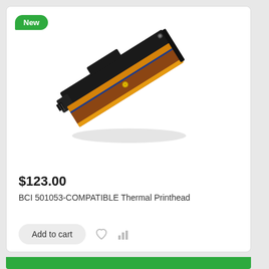[Figure (photo): BCI 501053-COMPATIBLE Thermal Printhead product image on a white background. The printhead is a rectangular hardware component with a black housing, orange/copper colored thermal elements, and yellow/orange flat-flex cables.]
$123.00
BCI 501053-COMPATIBLE Thermal Printhead
Add to cart